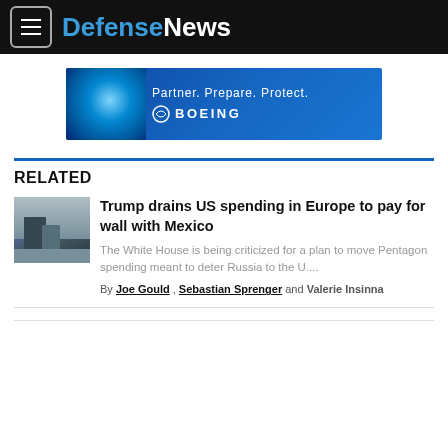DefenseNews
[Figure (illustration): Boeing advertisement banner: blue background with globe/sphere graphic on left, text 'Partner. Prepare. Protect.' and Boeing logo on right]
RELATED
[Figure (photo): Photo of people on tarmac, likely Trump with officials, cloudy sky background]
Trump drains US spending in Europe to pay for wall with Mexico
The White House is being criticized for a plan to move Pentagon spending meant to deter Russia to the U....
By Joe Gould , Sebastian Sprenger and Valerie Insinna